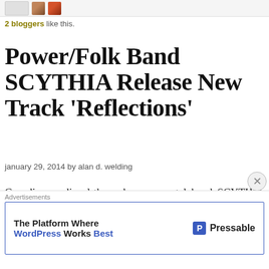[Figure (photo): Small blogger avatar thumbnails at the top of the page]
2 bloggers like this.
Power/Folk Band SCYTHIA Release New Track 'Reflections'
january 29, 2014 by alan d. welding
Canadian medieval-themed power metal band SCYTHIA and Decibel Magazine are teaming up today to bring you the brand new track 'Reflections', cut from the band's upcoming album …Of Conquest.
Advertisements
[Figure (screenshot): Advertisement banner: The Platform Where WordPress Works Best — Pressable]